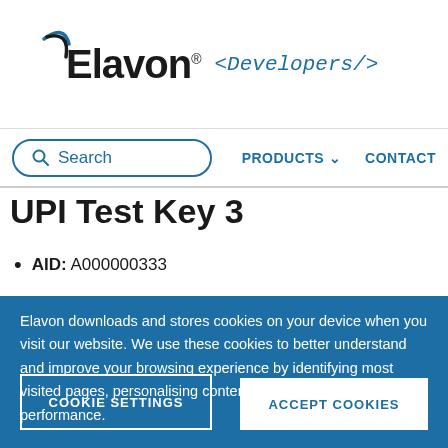[Figure (logo): Elavon logo with blue swoosh arc above the text and '<Developers/>' in italic monospace to the right]
[Figure (screenshot): Navigation bar with rounded search box containing magnifying glass icon and 'Search' placeholder, plus 'PRODUCTS v' and 'CONTACT' links in blue]
UPI Test Key 3
AID: A000000333
Elavon downloads and stores cookies on your device when you visit our website. We use these cookies to better understand and improve your browsing experience by identifying most visited pages, personalising content, and measuring site performance.
COOKIE SETTINGS
ACCEPT COOKIES